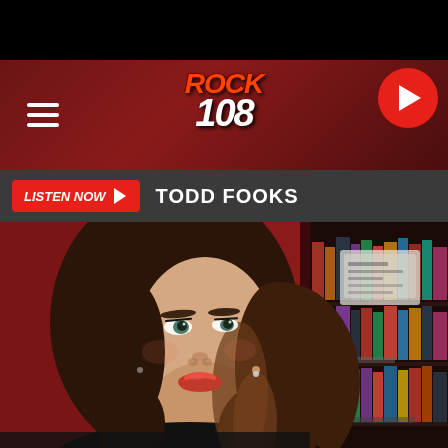[Figure (screenshot): Rock 108 radio station mobile website screenshot. Black top bar, dark red header with Rock 108 logo in center, hamburger menu on left, red circular play button on right. Gray bar below with red 'LISTEN NOW ►' button and 'TODD FOOKS' text. Below is a large photo of a woman with brown hair and red lipstick against a red background with bookshelves visible.]